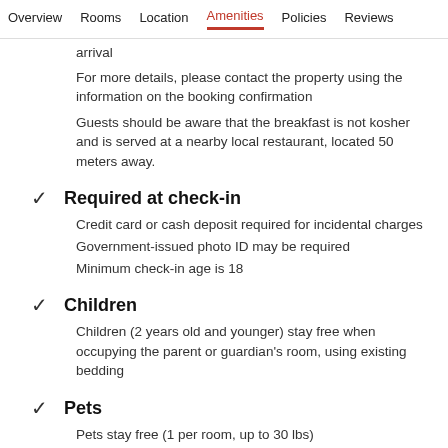Overview  Rooms  Location  Amenities  Policies  Reviews
arrival
For more details, please contact the property using the information on the booking confirmation
Guests should be aware that the breakfast is not kosher and is served at a nearby local restaurant, located 50 meters away.
Required at check-in
Credit card or cash deposit required for incidental charges
Government-issued photo ID may be required
Minimum check-in age is 18
Children
Children (2 years old and younger) stay free when occupying the parent or guardian's room, using existing bedding
Pets
Pets stay free (1 per room, up to 30 lbs)